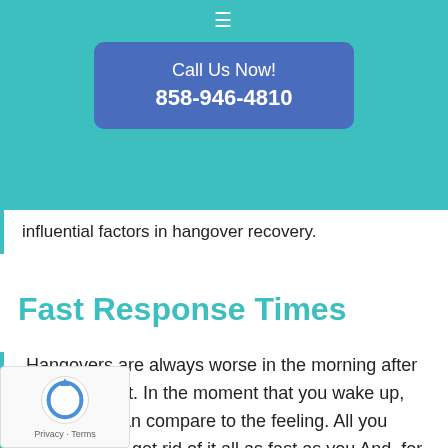☰
Call Us Now!
858-946-4810
influential factors in hangover recovery.
Fast Response Times
Hangovers are always worse in the morning after a heavy night. In the moment that you wake up, few things can compare to the feeling. All you want to do is get rid of it all as fast as you And, for this reason, we make sure that we offering all of our customers the fastest